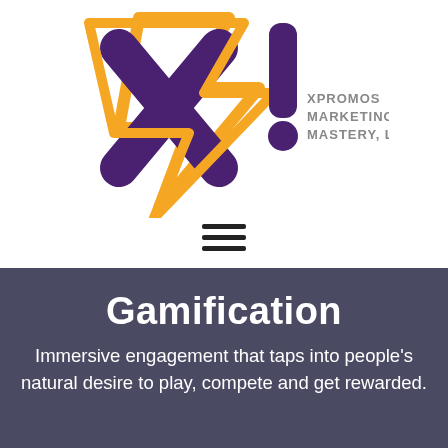[Figure (logo): XPromos Marketing Mastery LLC logo: large stylized purple X with orange lightning bolt arrow outline, and a purple exclamation mark, with gray text 'XPROMOS MARKETING MASTERY, LLC' to the right]
[Figure (other): Hamburger menu icon: three horizontal black bars]
Gamification
Immersive engagement that taps into people's natural desire to play, compete and get rewarded.